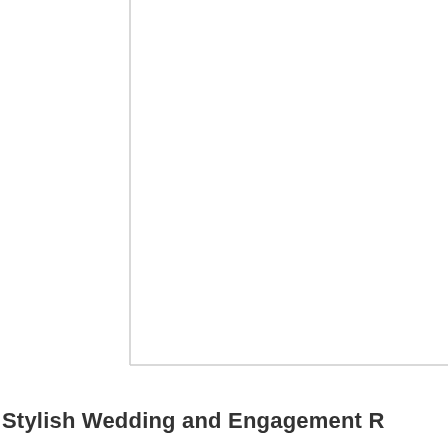[Figure (other): Corner of a white page or frame with light gray border lines forming an L-shape (left vertical edge and bottom horizontal edge visible)]
Stylish Wedding and Engagement R